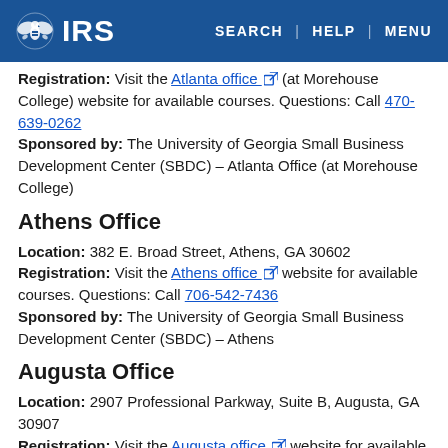IRS | SEARCH | HELP | MENU
Registration: Visit the Atlanta office (at Morehouse College) website for available courses. Questions: Call 470-639-0262
Sponsored by: The University of Georgia Small Business Development Center (SBDC) – Atlanta Office (at Morehouse College)
Athens Office
Location: 382 E. Broad Street, Athens, GA 30602
Registration: Visit the Athens office website for available courses. Questions: Call 706-542-7436
Sponsored by: The University of Georgia Small Business Development Center (SBDC) – Athens
Augusta Office
Location: 2907 Professional Parkway, Suite B, Augusta, GA 30907
Registration: Visit the Augusta office website for available courses. Questions: Call 706-650-5655